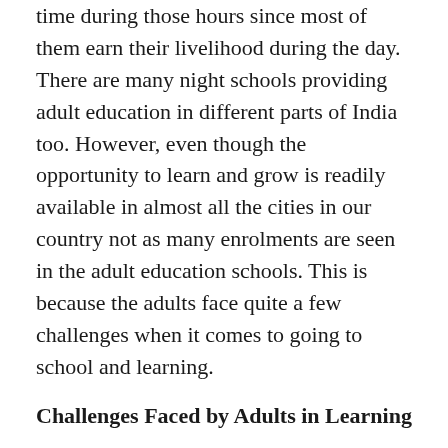time during those hours since most of them earn their livelihood during the day. There are many night schools providing adult education in different parts of India too. However, even though the opportunity to learn and grow is readily available in almost all the cities in our country not as many enrolments are seen in the adult education schools. This is because the adults face quite a few challenges when it comes to going to school and learning.
Challenges Faced by Adults in Learning
Here are some challenges faced by adults when it comes to learning:
Grasping Problem